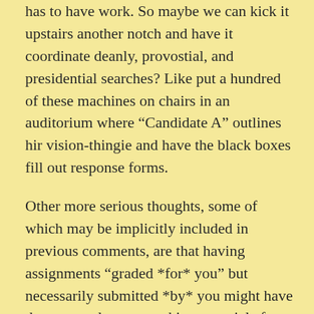has to have work. So maybe we can kick it upstairs another notch and have it coordinate deanly, provostial, and presidential searches? Like put a hundred of these machines on chairs in an auditorium where “Candidate A” outlines hir vision-thingie and have the black boxes fill out response forms.
Other more serious thoughts, some of which may be implicitly included in previous comments, are that having assignments “graded *for* you” but necessarily submitted *by* you might have the same valences as taking an article from the Am. J. Sociology in the